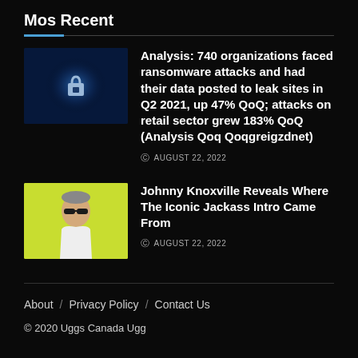Mos Recent
[Figure (photo): Blue glowing padlock icon on dark background]
Analysis: 740 organizations faced ransomware attacks and had their data posted to leak sites in Q2 2021, up 47% QoQ; attacks on retail sector grew 183% QoQ (Analysis Qoq Qoqgreigzdnet)
AUGUST 22, 2022
[Figure (photo): Man wearing sunglasses on yellow background]
Johnny Knoxville Reveals Where The Iconic Jackass Intro Came From
AUGUST 22, 2022
About / Privacy Policy / Contact Us
© 2020 Uggs Canada Ugg